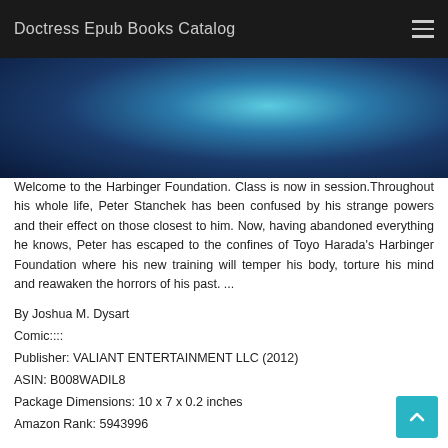Doctress Epub Books Catalog
[Figure (photo): Book cover showing a figure wrapped in blue and teal fabric/cloak against a dark background]
Welcome to the Harbinger Foundation. Class is now in session.Throughout his whole life, Peter Stanchek has been confused by his strange powers and their effect on those closest to him. Now, having abandoned everything he knows, Peter has escaped to the confines of Toyo Harada's Harbinger Foundation where his new training will temper his body, torture his mind and reawaken the horrors of his past. ...
By Joshua M. Dysart
Comic::::
Publisher: VALIANT ENTERTAINMENT LLC (2012)
ASIN: B008WADIL8
Package Dimensions: 10 x 7 x 0.2 inches
Amazon Rank: 5943996